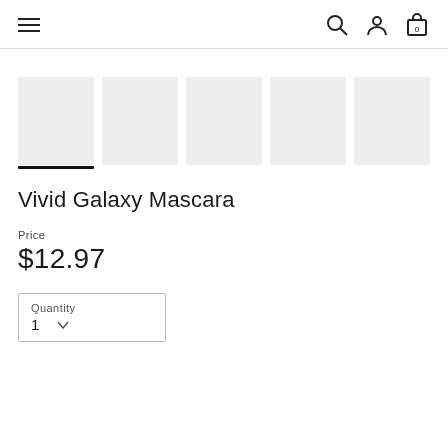Navigation header with hamburger menu, search, account, and cart (0) icons
[Figure (photo): Five thumbnail image placeholders in a row; the first is selected (underlined)]
Vivid Galaxy Mascara
Price
$12.97
Quantity 1